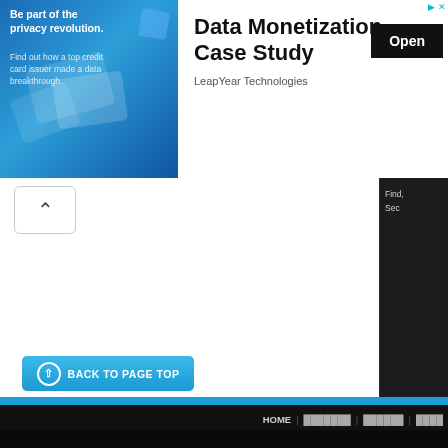[Figure (screenshot): Advertisement banner: blue image on left with text 'Be part of the privacy revolution. Find out how a top credit card issuer made a data breakthrough.' Right side shows 'Data Monetization Case Study' with 'LeapYear Technologies' and an 'Open' button]
Be part of the privacy revolution.
Find out how a top credit card issuer made a data breakthrough.
Data Monetization Case Study
LeapYear Technologies
Open
[Figure (screenshot): Navigation area with up arrow button and partial right panel showing 'Find,' and 'Sec']
BACK TO PAGE TOP
HOME | ■■■■■■■ | ■■■■■■ | ■■■■
■■■■■■■■■■■■■■■■■■■■■■■■■■■■■■■■■■■■■■
■■■■■■■■■■■■■■■■■■■■■■
Copyright © 2011 ■■■■■■■■■